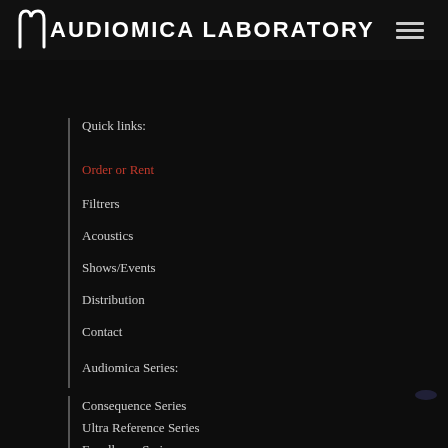Audiomica Laboratory
Quick links:
Order or Rent
Filtrers
Acoustics
Shows/Events
Distribution
Contact
Audiomica Series:
Consequence Series
Ultra Reference Series
Excellence Series